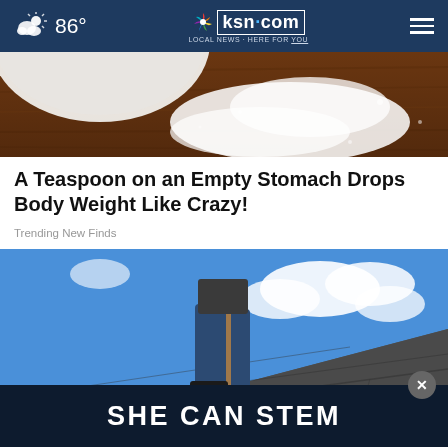86° | ksn.com LOCAL NEWS · HERE FOR YOU
[Figure (photo): Close-up of white powder (sugar or salt) spilled on a dark wooden surface next to a white bowl]
A Teaspoon on an Empty Stomach Drops Body Weight Like Crazy!
Trending New Finds
[Figure (photo): Person standing on a roof with a tool, blue sky with clouds in background, with an ad banner 'SHE CAN STEM' overlaid at the bottom]